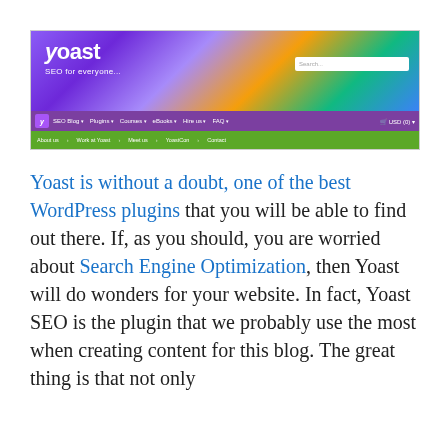[Figure (screenshot): Screenshot of the Yoast WordPress plugin website header showing the Yoast logo, tagline 'SEO for everyone...', navigation bar with purple background and menu items (SEO Blog, Plugins, Courses, eBooks, Hire us, FAQ), and a green secondary navigation bar with links (About us, Work at Yoast, Meet us, YoastCon, Contact). Colorful illustrated background with cartoon characters.]
Yoast is without a doubt, one of the best WordPress plugins that you will be able to find out there. If, as you should, you are worried about Search Engine Optimization, then Yoast will do wonders for your website. In fact, Yoast SEO is the plugin that we probably use the most when creating content for this blog. The great thing is that not only